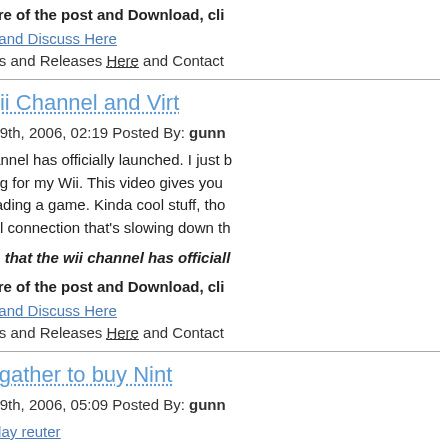To read more of the post and Download, cli
Join In and Discuss Here
Submit News and Releases Here and Contact
Clips: Wii Channel and Virt
November 19th, 2006, 02:19 Posted By: gunn
The Wii Channel has officially launched. I just bought Donkey Kong for my Wii. This video gives you and downloading a game. Kinda cool stuff, tho it's that initial connection that's slowing down th
This means that the wii channel has officiall
To read more of the post and Download, cli
Join In and Discuss Here
Submit News and Releases Here and Contact
Crowds gather to buy Nint
November 19th, 2006, 05:09 Posted By: gunn
news via today reuter